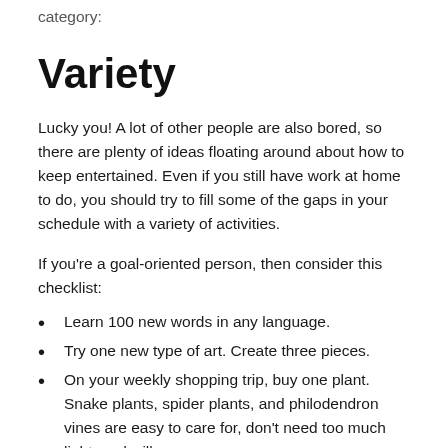category:
Variety
Lucky you! A lot of other people are also bored, so there are plenty of ideas floating around about how to keep entertained. Even if you still have work at home to do, you should try to fill some of the gaps in your schedule with a variety of activities.
If you're a goal-oriented person, then consider this checklist:
Learn 100 new words in any language.
Try one new type of art. Create three pieces.
On your weekly shopping trip, buy one plant. Snake plants, spider plants, and philodendron vines are easy to care for, don't need too much light, and will grow